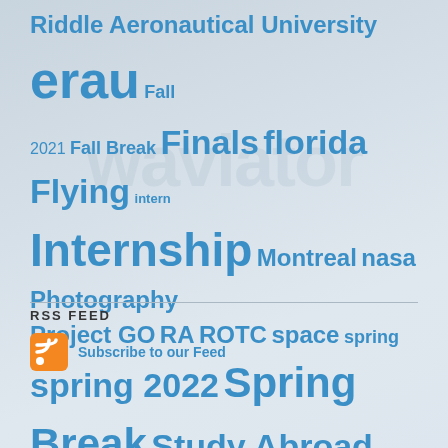[Figure (infographic): Tag cloud with various blog/website tags in different sizes rendered in blue on a light blue-grey gradient background. Tags include: Riddle Aeronautical University, erau, Fall 2021, Fall Break, Finals, florida, Flying, intern, Internship, Montreal, nasa, Photography, Project GO, RA, ROTC, space, spring, spring 2022, Spring Break, Study Abroad, Summer, teenage female pilot, Thanksgiving, Travel, Waverly Giannotti, waviator, Winter Break, young female pilot. Larger font indicates more frequently used tags.]
RSS FEED
[Figure (logo): RSS feed icon (orange square with white RSS signal waves) linked to Subscribe to our Feed]
Subscribe to our Feed